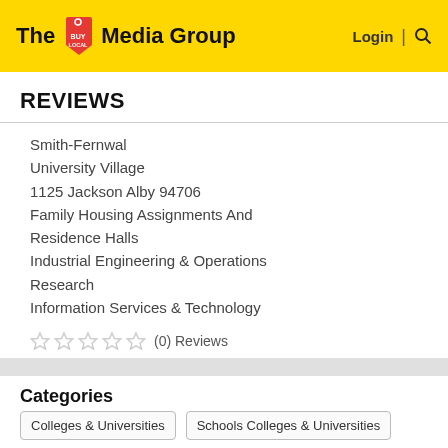The Buy Local Media Group | Login
REVIEWS
Smith-Fernwal
University Village
1125 Jackson Alby 94706
Family Housing Assignments And Residence Halls
Industrial Engineering & Operations Research
Information Services & Technology
(0) Reviews
VIEW ON MAP
Categories
Colleges & Universities
Schools Colleges & Universities